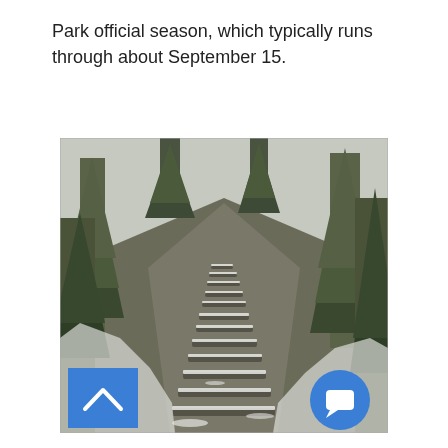Park official season, which typically runs through about September 15.
[Figure (photo): A snow-dusted hiking trail with wooden log steps ascending between dense evergreen trees on both sides. The path leads uphill toward a vanishing point in the distance. Snow lightly covers the ground, rocks, and log retainers.]